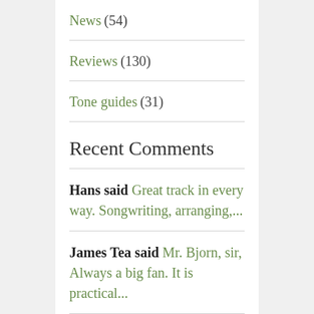News (54)
Reviews (130)
Tone guides (31)
Recent Comments
Hans said Great track in every way. Songwriting, arranging,...
James Tea said Mr. Bjorn, sir, Always a big fan. It is practical...
Juan said Thank you! Can't an eq after the SD-1W with...